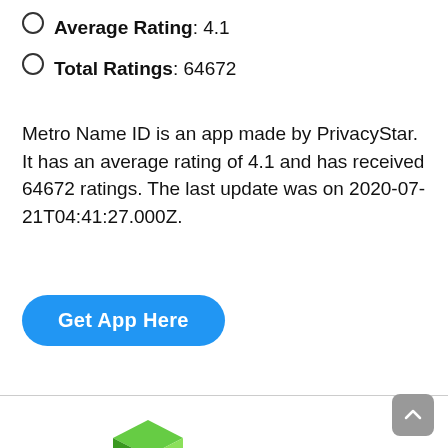Average Rating: 4.1
Total Ratings: 64672
Metro Name ID is an app made by PrivacyStar. It has an average rating of 4.1 and has received 64672 ratings. The last update was on 2020-07-21T04:41:27.000Z.
[Figure (other): Blue button labeled 'Get App Here']
[Figure (logo): App logo with three colored hexagonal 3D cubes: blue (left), green (top right), red (bottom right)]